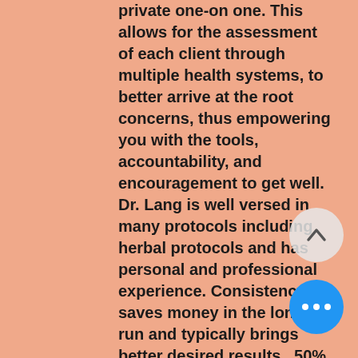private one-on one. This allows for the assessment of each client through multiple health systems, to better arrive at the root concerns, thus empowering you with the tools, accountability, and encouragement to get well. Dr. Lang is well versed in many protocols including herbal protocols and has personal and professional experience. Consistency saves money in the long run and typically brings better desired results.  50% of the First Visit Holistic Consu... due at the time of booking t... reserve a space and the